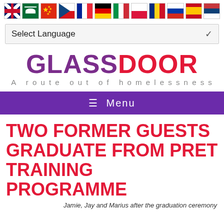[Figure (illustration): Row of country flags: UK, Saudi Arabia, China, Czech Republic, France, Germany, Italy, Poland, Romania, Russia, Spain, Serbia]
Select Language
[Figure (logo): GLASSDOOR logo in purple and red with tagline 'A route out of homelessness']
Menu
TWO FORMER GUESTS GRADUATE FROM PRET TRAINING PROGRAMME
Jamie, Jay and Marius after the graduation ceremony